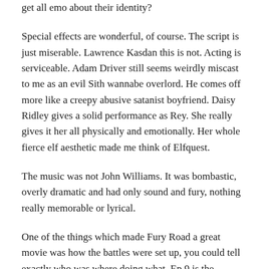get all emo about their identity?
Special effects are wonderful, of course. The script is just miserable. Lawrence Kasdan this is not. Acting is serviceable. Adam Driver still seems weirdly miscast to me as an evil Sith wannabe overlord. He comes off more like a creepy abusive satanist boyfriend. Daisy Ridley gives a solid performance as Rey. She really gives it her all physically and emotionally. Her whole fierce elf aesthetic made me think of Elfquest.
The music was not John Williams. It was bombastic, overly dramatic and had only sound and fury, nothing really memorable or lyrical.
One of the things which made Fury Road a great movie was how the battles were set up, you could tell exactly who was where doing what. Ep 9 is the opposite, it's a